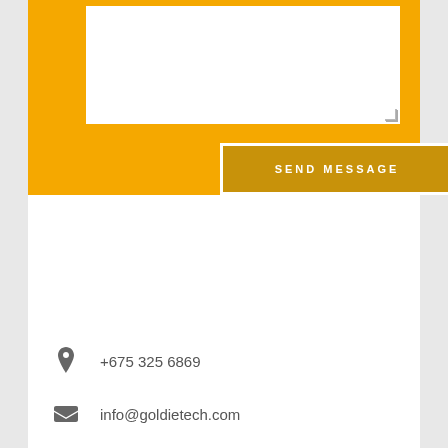[Figure (screenshot): Yellow contact form section with a white textarea input field and a 'SEND MESSAGE' button with white border on golden/amber background]
SEND MESSAGE
+675 325 6869
info@goldietech.com